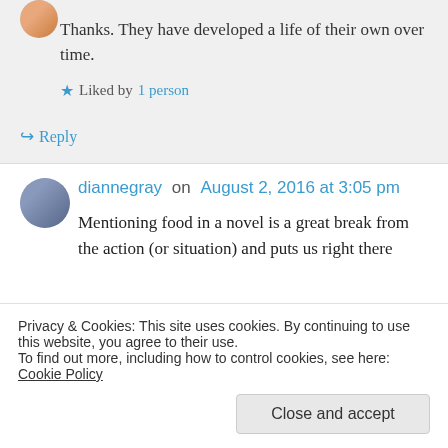Thanks. They have developed a life of their own over time.
★ Liked by 1 person
↪ Reply
diannegray on August 2, 2016 at 3:05 pm
Mentioning food in a novel is a great break from the action (or situation) and puts us right there
Privacy & Cookies: This site uses cookies. By continuing to use this website, you agree to their use.
To find out more, including how to control cookies, see here: Cookie Policy
Close and accept